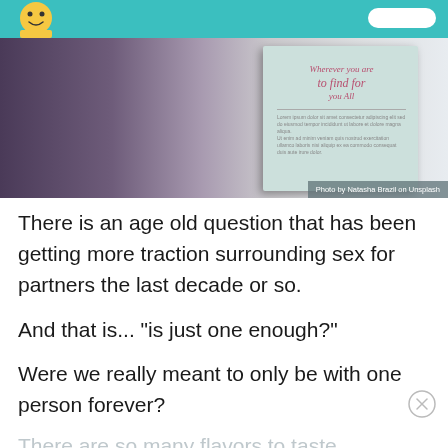[Figure (photo): A woman holding a light blue/mint covered book up near her face, reading. The book cover has cursive text. Photo credit overlay reads 'Photo by Natasha Brazil on Unsplash'.]
Photo by Natasha Brazil on Unsplash
There is an age old question that has been getting more traction surrounding sex for partners the last decade or so.
And that is... "is just one enough?"
Were we really meant to only be with one person forever?
There are so many flavors to taste.